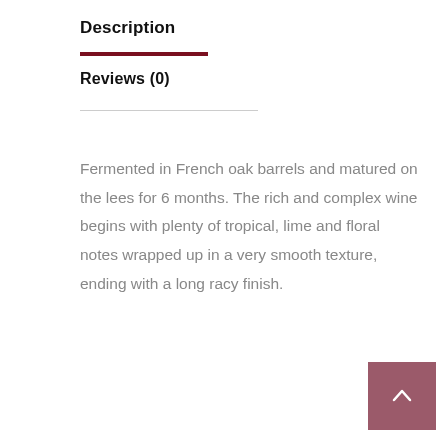Description
Reviews (0)
Fermented in French oak barrels and matured on the lees for 6 months. The rich and complex wine begins with plenty of tropical, lime and floral notes wrapped up in a very smooth texture, ending with a long racy finish.